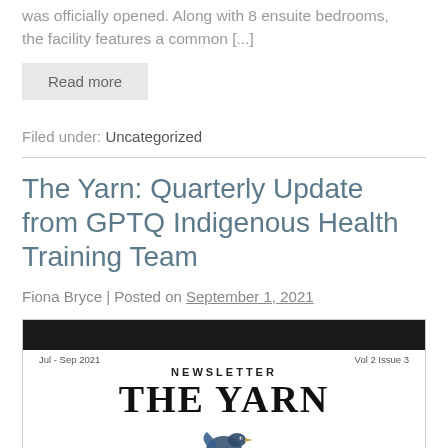was officially opened. Along with 8 ensuite bedrooms, the facility features a common [...]
Read more
Filed under: Uncategorized
The Yarn: Quarterly Update from GPTQ Indigenous Health Training Team
Fiona Bryce | Posted on September 1, 2021
[Figure (screenshot): Newsletter header image showing 'THE YARN' newsletter with black top bar, date Jul - Sep 2021, Vol 2 Issue 3, NEWSLETTER label, large title THE YARN, and a decorative bird illustration below]